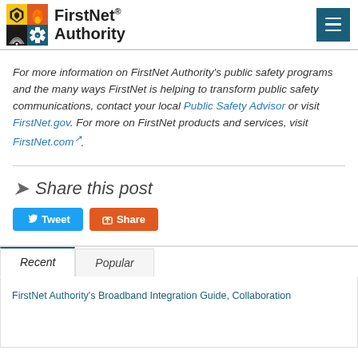[Figure (logo): FirstNet Authority logo with icon and text]
For more information on FirstNet Authority's public safety programs and the many ways FirstNet is helping to transform public safety communications, contact your local Public Safety Advisor or visit FirstNet.gov. For more on FirstNet products and services, visit FirstNet.com.
Share this post
Tweet | Share
Recent | Popular
FirstNet Authority's Broadband Integration Guide, Collaboration